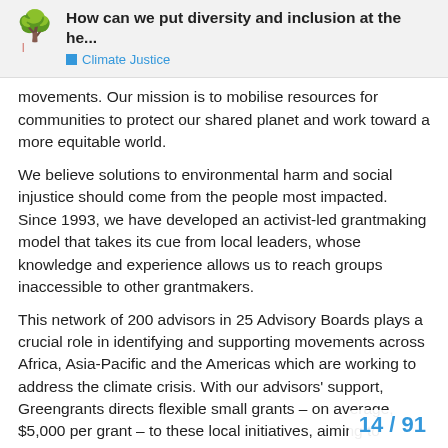How can we put diversity and inclusion at the he... | Climate Justice
movements. Our mission is to mobilise resources for communities to protect our shared planet and work toward a more equitable world.
We believe solutions to environmental harm and social injustice should come from the people most impacted. Since 1993, we have developed an activist-led grantmaking model that takes its cue from local leaders, whose knowledge and experience allows us to reach groups inaccessible to other grantmakers.
This network of 200 advisors in 25 Advisory Boards plays a crucial role in identifying and supporting movements across Africa, Asia-Pacific and the Americas which are working to address the climate crisis. With our advisors' support, Greengrants directs flexible small grants – on average, $5,000 per grant – to these local initiatives, aiming to catalyse community action while minimising dependency on external support. To date, we have supported over 16.000 locally-led environmental initiatives in this way.
14 / 91